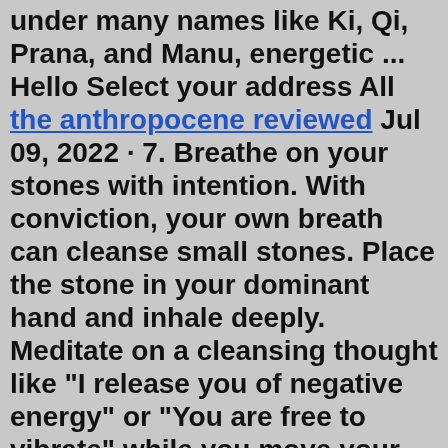under many names like Ki, Qi, Prana, and Manu, energetic ... Hello Select your address All the anthropocene reviewed Jul 09, 2022 · 7. Breathe on your stones with intention. With conviction, your own breath can cleanse small stones. Place the stone in your dominant hand and inhale deeply. Meditate on a cleansing thought like "I release you of negative energy" or "You are free to vibrate" while you move your hand toward your nose. Place your crystals in a bowl or dish of water and allow them to sit for 30 minutes. Place them in a lightbox. Lightboxes are great tools for charging crystals. Place your crystals on a flat surface and place a lightbox over them. Lightboxes are designed to charge crystals by emitting an electromagnetic field.Before using water to cleanse your crystals, make sure that the stones you are working with are compatible with water. Some softer, more porous crystals don't react well to water and/or salt and should be cleansed using a different method.Some crystals may be totally ruined by contact with water, so use other methods of cleansing